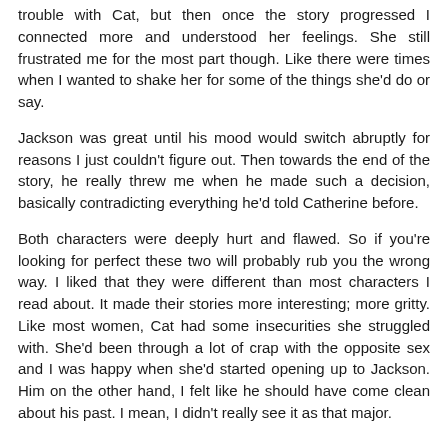trouble with Cat, but then once the story progressed I connected more and understood her feelings. She still frustrated me for the most part though. Like there were times when I wanted to shake her for some of the things she'd do or say.
Jackson was great until his mood would switch abruptly for reasons I just couldn't figure out. Then towards the end of the story, he really threw me when he made such a decision, basically contradicting everything he'd told Catherine before.
Both characters were deeply hurt and flawed. So if you're looking for perfect these two will probably rub you the wrong way. I liked that they were different than most characters I read about. It made their stories more interesting; more gritty. Like most women, Cat had some insecurities she struggled with. She'd been through a lot of crap with the opposite sex and I was happy when she'd started opening up to Jackson. Him on the other hand, I felt like he should have come clean about his past. I mean, I didn't really see it as that major.